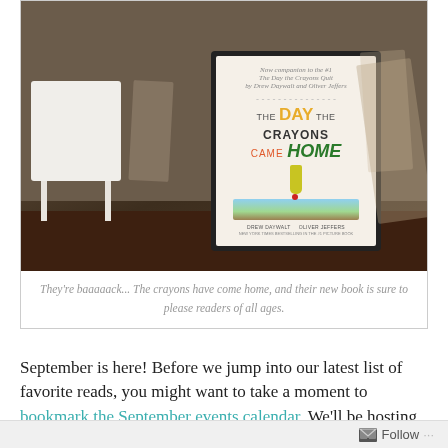[Figure (photo): Photograph of a bookstore display showing 'The Day the Crayons Came Home' book by Drew Daywalt and Oliver Jeffers prominently displayed on a black stand, with other books and cards visible in the background, set on a wooden floor with white furniture.]
They're baaaaack... The crayons have come home, and their new book is sure to please readers of all ages.
September is here! Before we jump into our latest list of favorite reads, you might want to take a moment to bookmark the September events calendar. We'll be hosting authors ranging from Jenny Lawson (Furiously Happy) and Mary Norris (Between You and Me: Confessions of a Comma Queen) to
Follow